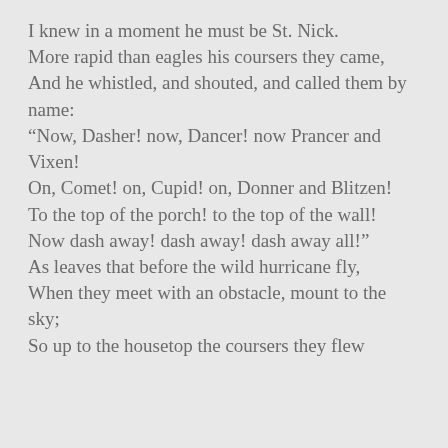I knew in a moment he must be St. Nick.
More rapid than eagles his coursers they came,
And he whistled, and shouted, and called them by name:
“Now, Dasher! now, Dancer! now Prancer and Vixen!
On, Comet! on, Cupid! on, Donner and Blitzen!
To the top of the porch! to the top of the wall!
Now dash away! dash away! dash away all!”
As leaves that before the wild hurricane fly,
When they meet with an obstacle, mount to the sky;
So up to the housetop the coursers they flew